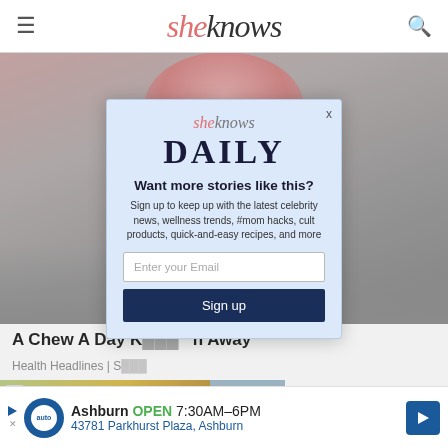sheknows
[Figure (photo): Background photo showing a pink sugary/textured food item with grey background]
A Chew A Day K... ...n Away
Health Headlines | S...
[Figure (photo): Thumbnail image with SK logo and people (Harry and Meghan) posing in front of a colorful background]
[Figure (screenshot): Modal popup: sheknows DAILY - Want more stories like this? Sign up to keep up with the latest celebrity news, wellness trends, #mom hacks, cult products, quick-and-easy recipes, and more. Email signup form with Sign up button.]
Ashburn OPEN 7:30AM–6PM
43781 Parkhurst Plaza, Ashburn